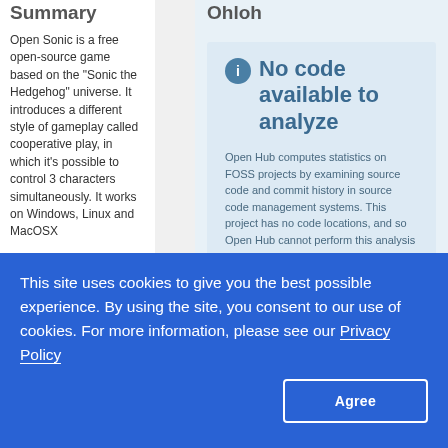Summary
Open Sonic is a free open-source game based on the "Sonic the Hedgehog" universe. It introduces a different style of gameplay called cooperative play, in which it's possible to control 3 characters simultaneously. It works on Windows, Linux and MacOSX
Tags
Ohloh
[Figure (infographic): Info box with blue 'i' icon and bold text 'No code available to analyze', followed by two paragraphs explaining that Open Hub computes statistics on FOSS projects by examining source code and commit history in source code management systems and that this project has no code locations.]
Open Hub computes statistics on FOSS projects by examining source code and commit history in source code management systems. This project has no code locations, and so Open Hub cannot perform this analysis
Is this project's source code hosted in a publicly available repository? Do you know the URL? If you do, click the button
This site uses cookies to give you the best possible experience. By using the site, you consent to our use of cookies. For more information, please see our Privacy Policy